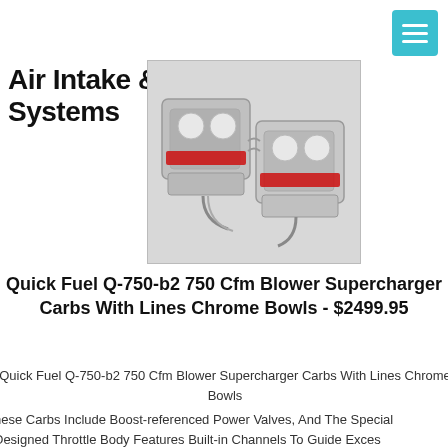Air Intake & Fuel Systems
[Figure (photo): Two chrome supercharger carburetors with red accents and fuel lines, photographed against a white background.]
Quick Fuel Q-750-b2 750 Cfm Blower Supercharger Carbs With Lines Chrome Bowls - $2499.95
Quick Fuel Q-750-b2 750 Cfm Blower Supercharger Carbs With Lines Chrome Bowls
These Carbs Include Boost-referenced Power Valves, And The Specially Designed Throttle Body Features Built-in Channels To Guide Excess